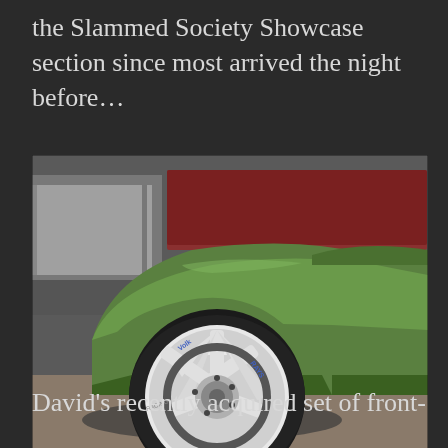the Slammed Society Showcase section since most arrived the night before…
[Figure (photo): Close-up photograph of the front wheel of a lowered green car. The car features a white multi-spoke aftermarket wheel (RAYS/Volk TE37 style) with a low-profile tire. The car body is metallic green and sits very low to the ground. A semi-truck trailer is visible in the background. A watermark reads 'stickyrolls.com' in the lower right corner.]
David's recently acquired set of front-